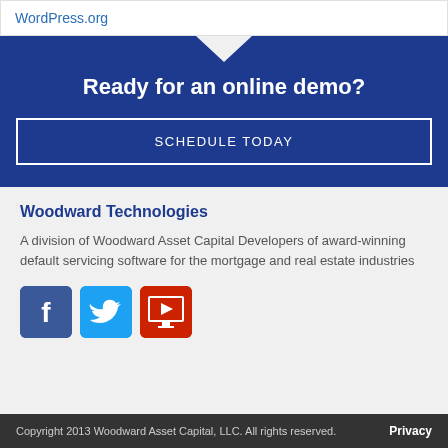WordPress.org
Ready for an online demo?
SCHEDULE TODAY
Woodward Technologies
A division of Woodward Asset Capital Developers of award-winning default servicing software for the mortgage and real estate industries
[Figure (other): Social media icons: Facebook (blue square with white f), Twitter (light blue square with white bird), YouTube (red square with white play button on monitor)]
Copyright 2013 Woodward Asset Capital, LLC. All rights reserved.   Privacy